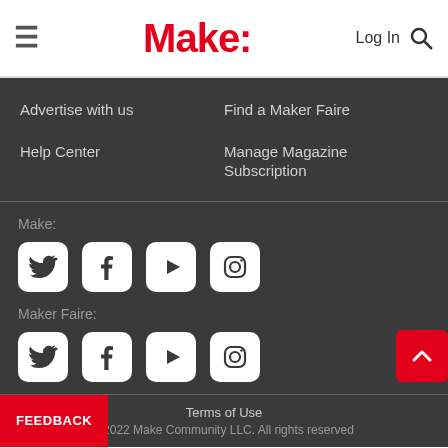Make:
Advertise with us
Help Center
Find a Maker Faire
Manage Magazine Subscription
Make:
[Figure (logo): Twitter icon white on white rounded square]
[Figure (logo): Facebook icon white on white rounded square]
[Figure (logo): YouTube icon white on white rounded square]
[Figure (logo): Instagram icon white on white rounded square]
Maker Faire:
[Figure (logo): Twitter icon white on white rounded square]
[Figure (logo): Facebook icon white on white rounded square]
[Figure (logo): YouTube icon white on white rounded square]
[Figure (logo): Instagram icon white on white rounded square]
Terms of Use
©2022 Make Community LLC. All rights reserved
FEEDBACK